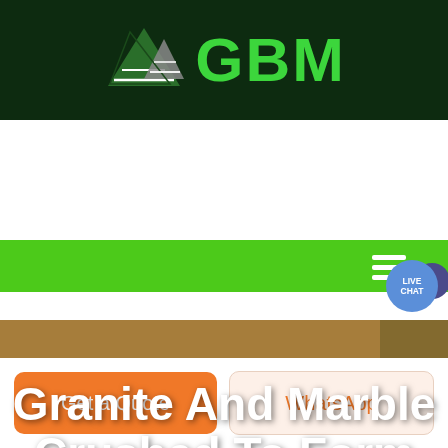[Figure (logo): GBM logo with green mountain/peaks graphic and bold green GBM text on dark green background]
[Figure (screenshot): Green navigation bar with hamburger menu icon on right, and LIVE CHAT badge circle overlay]
Granite And Marble Crushed To Form Some Material
[Figure (photo): Aerial landscape photo with green and golden fields, diagonal road/path, trees in foreground]
Get a Quote
WhatsApp